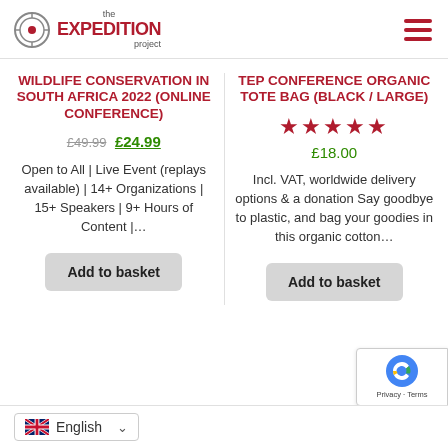the EXPEDITION project
WILDLIFE CONSERVATION IN SOUTH AFRICA 2022 (ONLINE CONFERENCE)
£49.99 £24.99
Open to All | Live Event (replays available) | 14+ Organizations | 15+ Speakers | 9+ Hours of Content |…
Add to basket
TEP CONFERENCE ORGANIC TOTE BAG (BLACK / LARGE)
★★★★★
£18.00
Incl. VAT, worldwide delivery options & a donation Say goodbye to plastic, and bag your goodies in this organic cotton…
Add to basket
English